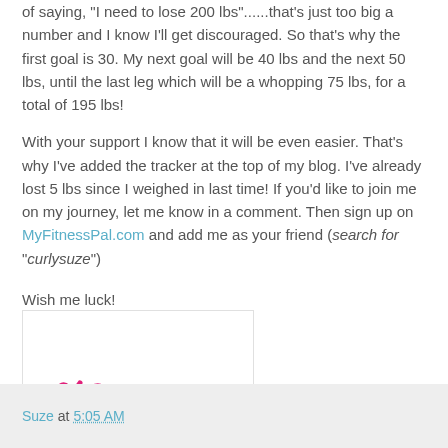of saying, "I need to lose 200 lbs"......that's just too big a number and I know I'll get discouraged. So that's why the first goal is 30. My next goal will be 40 lbs and the next 50 lbs, until the last leg which will be a whopping 75 lbs, for a total of 195 lbs!
With your support I know that it will be even easier. That's why I've added the tracker at the top of my blog. I've already lost 5 lbs since I weighed in last time! If you'd like to join me on my journey, let me know in a comment. Then sign up on MyFitnessPal.com and add me as your friend (search for "curlysuze")
Wish me luck!
[Figure (illustration): Handwritten signature reading '~Suze' in pink cursive script on white background]
Suze at 5:05 AM